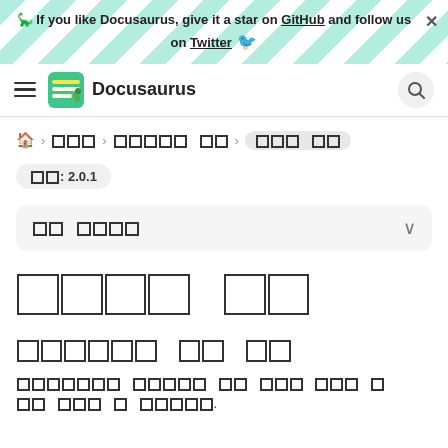🦕 If you like Docusaurus, give it a star on GitHub and follow us on Twitter 🐦
≡ 🦖 Docusaurus [search]
🏠 > □□□ > □□□□□ □□ > □□□ □□
버전: 2.0.1
□□ □□□□  ∨
□□□□ □□
□□□□□□ □□ □□
□□□□□□□ □□□□□ □□ □□□ □□□ □□□ □□□ □ □□□□□.